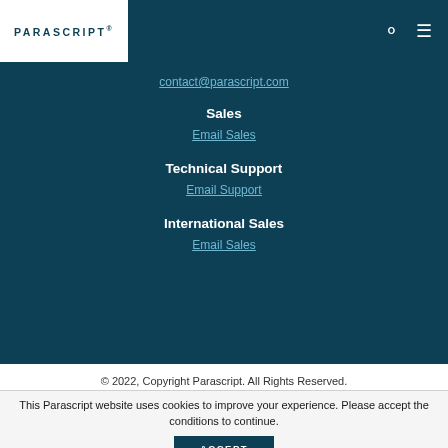PARASCRIPT®
contact@parascript.com
Sales
Email Sales
Technical Support
Email Support
International Sales
Email Sales
© 2022, Copyright Parascript. All Rights Reserved.
This Parascript website uses cookies to improve your experience. Please accept the conditions to continue.
ACCEPT